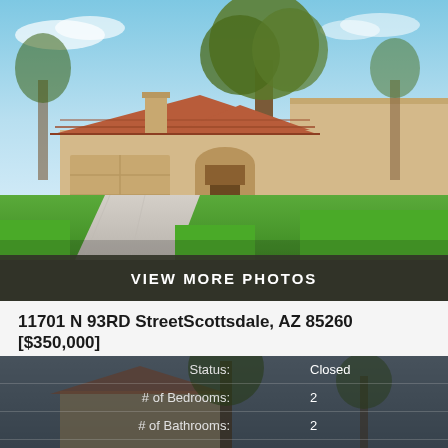[Figure (photo): Exterior photo of a single-story stucco home with red tile roof, large tree in front, green lawn, and concrete driveway. Blue sky background. Southwest/Arizona style architecture.]
VIEW MORE PHOTOS
11701 N 93RD StreetScottsdale, AZ 85260
[$350,000]
| Label | Value |
| --- | --- |
| Status: | Closed |
| # of Bedrooms: | 2 |
| # of Bathrooms: | 2 |
| Year Built: | 1983 |
[Figure (photo): Background photo of another Southwest-style home with trees, partially visible behind the property details overlay.]